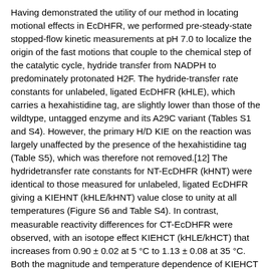Having demonstrated the utility of our method in locating motional effects in EcDHFR, we performed pre-steady-state stopped-flow kinetic measurements at pH 7.0 to localize the origin of the fast motions that couple to the chemical step of the catalytic cycle, hydride transfer from NADPH to predominately protonated H2F. The hydride-transfer rate constants for unlabeled, ligated EcDHFR (kHLE), which carries a hexahistidine tag, are slightly lower than those of the wildtype, untagged enzyme and its A29C variant (Tables S1 and S4). However, the primary H/D KIE on the reaction was largely unaffected by the presence of the hexahistidine tag (Table S5), which was therefore not removed.[12] The hydridetransfer rate constants for NT-EcDHFR (kHNT) were identical to those measured for unlabeled, ligated EcDHFR giving a KIEHNT (kHLE/kHNT) value close to unity at all temperatures (Figure S6 and Table S4). In contrast, measurable reactivity differences for CT-EcDHFR were observed, with an isotope effect KIEHCT (kHLE/kHCT) that increases from 0.90 ± 0.02 at 5 °C to 1.13 ± 0.08 at 35 °C. Both the magnitude and temperature dependence of KIEHCT are similar to those of the